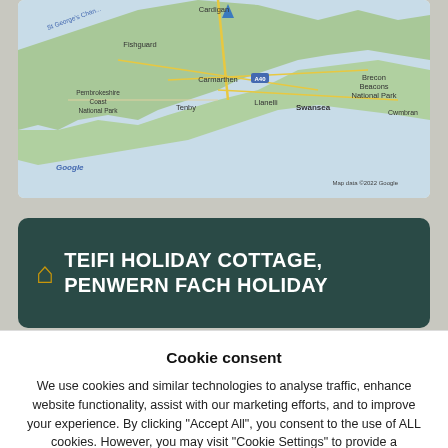[Figure (map): Google Maps showing South Wales / West Wales coastline with labels including Cardigan, Fishguard, Pembrokeshire Coast National Park, Carmarthen, Tenby, Llanelli, Swansea, Brecon Beacons National Park, Cwmbran, St George's Channel. Map data ©2022 Google.]
TEIFI HOLIDAY COTTAGE, PENWERN FACH HOLIDAY
Cookie consent
We use cookies and similar technologies to analyse traffic, enhance website functionality, assist with our marketing efforts, and to improve your experience. By clicking "Accept All", you consent to the use of ALL cookies. However, you may visit "Cookie Settings" to provide a controlled consent.
COOKIE SETTINGS
ACCEPT ALL